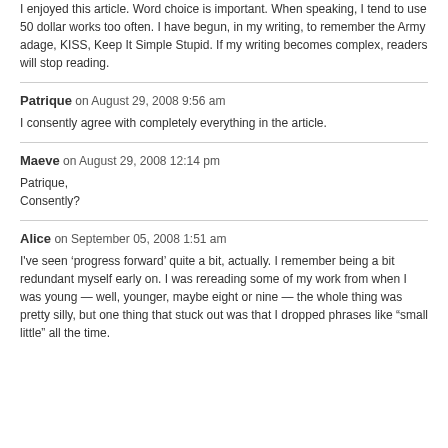I enjoyed this article. Word choice is important. When speaking, I tend to use 50 dollar works too often. I have begun, in my writing, to remember the Army adage, KISS, Keep It Simple Stupid. If my writing becomes complex, readers will stop reading.
Patrique on August 29, 2008 9:56 am
I consently agree with completely everything in the article.
Maeve on August 29, 2008 12:14 pm
Patrique,
Consently?
Alice on September 05, 2008 1:51 am
I've seen ‘progress forward’ quite a bit, actually. I remember being a bit redundant myself early on. I was rereading some of my work from when I was young — well, younger, maybe eight or nine — the whole thing was pretty silly, but one thing that stuck out was that I dropped phrases like “small little” all the time.